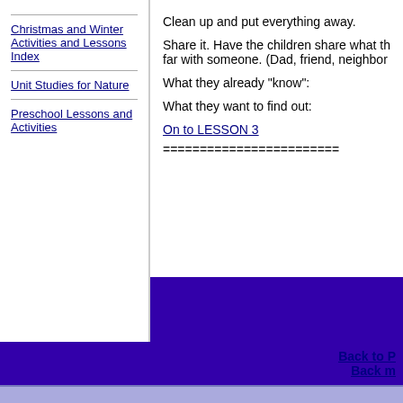Christmas and Winter Activities and Lessons Index
Unit Studies for Nature
Preschool Lessons and Activities
Clean up and put everything away.
Share it. Have the children share what they have learned so far with someone. (Dad, friend, neighbor…)
What they already "know":
What they want to find out:
On to LESSON 3
========================================
Back to P
Back m